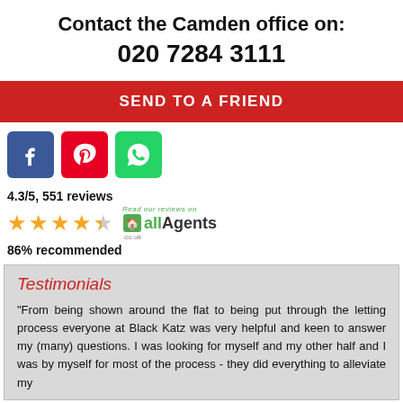Contact the Camden office on:
020 7284 3111
SEND TO A FRIEND
[Figure (other): Social media icon buttons: Facebook (blue), Pinterest (red), WhatsApp (green)]
4.3/5, 551 reviews
★★★★☆ allAgents
86% recommended
Testimonials
"From being shown around the flat to being put through the letting process everyone at Black Katz was very helpful and keen to answer my (many) questions. I was looking for myself and my other half and I was by myself for most of the process - they did everything to alleviate my